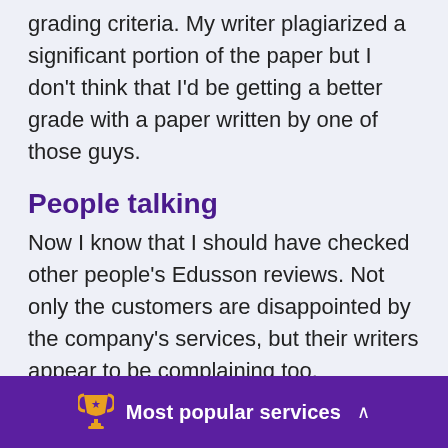become rejected and did not pass the required grading criteria. My writer plagiarized a significant portion of the paper but I don't think that I'd be getting a better grade with a paper written by one of those guys.
People talking
Now I know that I should have checked other people's Edusson reviews. Not only the customers are disappointed by the company's services, but their writers appear to be complaining too.
Most popular services